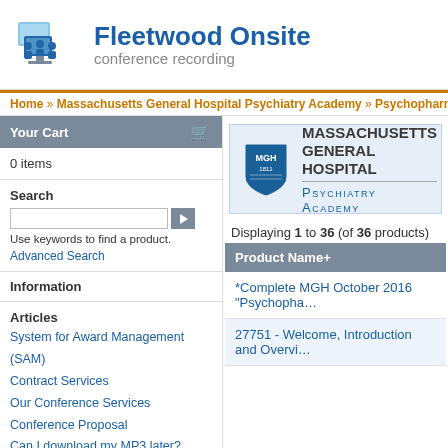[Figure (logo): Fleetwood Onsite conference recording logo with blue monitor/people icons]
Fleetwood Onsite conference recording
Home » Massachusetts General Hospital Psychiatry Academy » Psychopharmacolog...
Your Cart
0 items
Search
Use keywords to find a product.
Advanced Search
Information
Articles
System for Award Management (SAM)
Contract Services
Our Conference Services
Conference Proposal
Can I download my MP3 later?
MP3 CD-ROM
MP3 Download Help
Samples
[Figure (logo): Massachusetts General Hospital Psychiatry Academy shield logo and text]
Displaying 1 to 36 (of 36 products)
| Product Name+ |
| --- |
| *Complete MGH October 2016 "Psychopha... |
| 27751 - Welcome, Introduction and Overvi... |
Product Name+